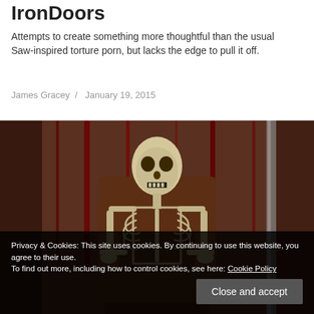IronDoors
Attempts to create something more thoughtful than the usual Saw-inspired torture porn, but lacks the edge to pull it off.
James Gracey  /  January 19, 2015
[Figure (photo): A skeleton seated on a throne-like chair against a blood-splattered dark wall, horror movie imagery from IronDoors.]
Privacy & Cookies: This site uses cookies. By continuing to use this website, you agree to their use. To find out more, including how to control cookies, see here: Cookie Policy
Close and accept